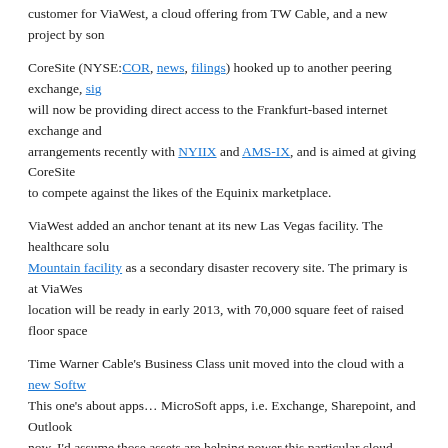customer for ViaWest, a cloud offering from TW Cable, and a new project by son...
CoreSite (NYSE:COR, news, filings) hooked up to another peering exchange, sig... will now be providing direct access to the Frankfurt-based internet exchange and... arrangements recently with NYIIX and AMS-IX, and is aimed at giving CoreSite... to compete against the likes of the Equinix marketplace.
ViaWest added an anchor tenant at its new Las Vegas facility. The healthcare solu... Mountain facility as a secondary disaster recovery site. The primary is at ViaWes... location will be ready in early 2013, with 70,000 square feet of raised floor space...
Time Warner Cable's Business Class unit moved into the cloud with a new Softw... This one's about apps... MicroSoft apps, i.e. Exchange, Sharepoint, and Outlook... now, I'd assume those assets are helping power this particular cloud expansion.
And there's a new hub planned for New York it seems. Jamestown Properties, Am... Newby are working on turning 325 Hudson Street into a carrier neutral facility. Ja... Google bought it two years ago, and of course Newby helped put Telx together fr... mean business. More details over on Data Center Knowledge.
[Figure (infographic): Social sharing bar with Facebook, Twitter, LinkedIn, Email, Print, Google+ icons and count of 2]